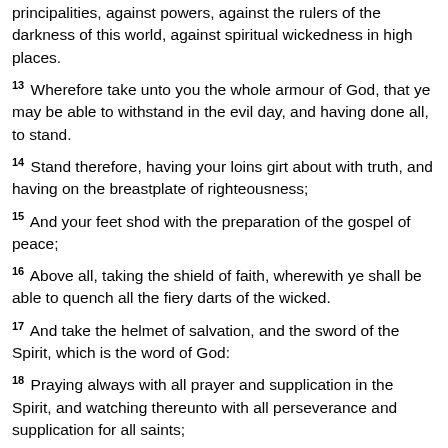principalities, against powers, against the rulers of the darkness of this world, against spiritual wickedness in high places.
13 Wherefore take unto you the whole armour of God, that ye may be able to withstand in the evil day, and having done all, to stand.
14 Stand therefore, having your loins girt about with truth, and having on the breastplate of righteousness;
15 And your feet shod with the preparation of the gospel of peace;
16 Above all, taking the shield of faith, wherewith ye shall be able to quench all the fiery darts of the wicked.
17 And take the helmet of salvation, and the sword of the Spirit, which is the word of God:
18 Praying always with all prayer and supplication in the Spirit, and watching thereunto with all perseverance and supplication for all saints;